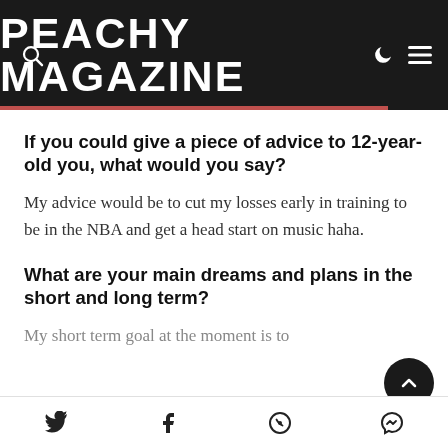PEACHY MAGAZINE
If you could give a piece of advice to 12-year-old you, what would you say?
My advice would be to cut my losses early in training to be in the NBA and get a head start on music haha.
What are your main dreams and plans in the short and long term?
My short term goal at the moment is to
Social share icons: Twitter, Facebook, WhatsApp, Messenger